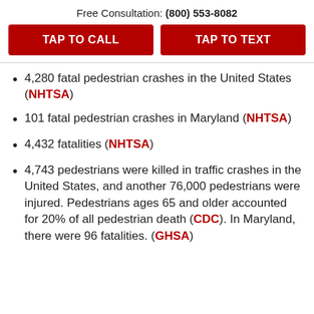Free Consultation: (800) 553-8082
TAP TO CALL
TAP TO TEXT
4,280 fatal pedestrian crashes in the United States (NHTSA)
101 fatal pedestrian crashes in Maryland (NHTSA)
4,432 fatalities (NHTSA)
4,743 pedestrians were killed in traffic crashes in the United States, and another 76,000 pedestrians were injured. Pedestrians ages 65 and older accounted for 20% of all pedestrian death (CDC). In Maryland, there were 96 fatalities. (GHSA)